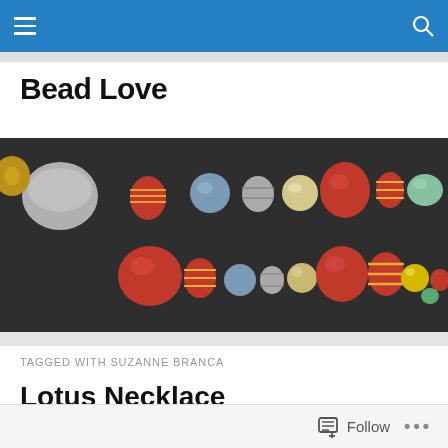Navigation bar with hamburger menu and search icon
Bead Love
[Figure (photo): Close-up photograph of a colorful beaded necklace on a dark background, featuring red, blue, silver, yellow, green, and striped beads of various sizes and shapes]
TAGGED WITH SUZANNE BRANCA
Lotus Necklace
I love the work of Sarah Kendall from Slate Studios
Follow ...